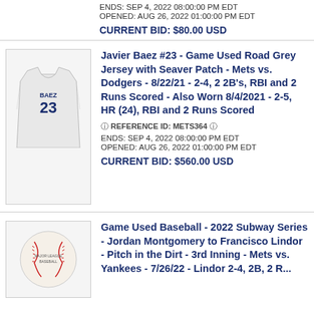ENDS: SEP 4, 2022 08:00:00 PM EDT
OPENED: AUG 26, 2022 01:00:00 PM EDT
CURRENT BID: $80.00 USD
[Figure (photo): Javier Baez #23 road grey baseball jersey with Mets logo]
Javier Baez #23 - Game Used Road Grey Jersey with Seaver Patch - Mets vs. Dodgers - 8/22/21 - 2-4, 2 2B's, RBI and 2 Runs Scored - Also Worn 8/4/2021 - 2-5, HR (24), RBI and 2 Runs Scored
REFERENCE ID: METS364
ENDS: SEP 4, 2022 08:00:00 PM EDT
OPENED: AUG 26, 2022 01:00:00 PM EDT
CURRENT BID: $560.00 USD
[Figure (photo): Official Major League Baseball used in 2022 Subway Series game]
Game Used Baseball - 2022 Subway Series - Jordan Montgomery to Francisco Lindor - Pitch in the Dirt - 3rd Inning - Mets vs. Yankees - 7/26/22 - Lindor 2-4, 2B, 2 R...